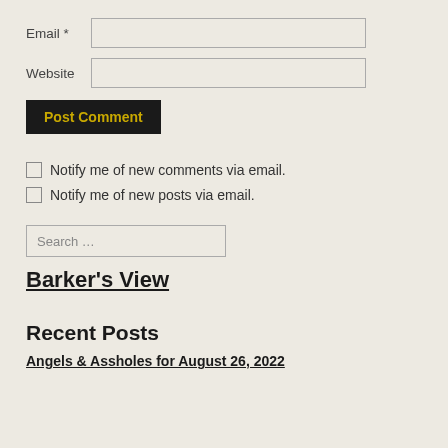Email *
Website
Post Comment
Notify me of new comments via email.
Notify me of new posts via email.
Search …
Barker's View
Recent Posts
Angels & Assholes for August 26, 2022